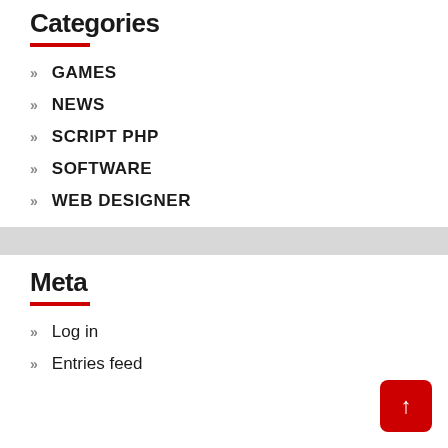Categories
GAMES
NEWS
SCRIPT PHP
SOFTWARE
WEB DESIGNER
Meta
Log in
Entries feed